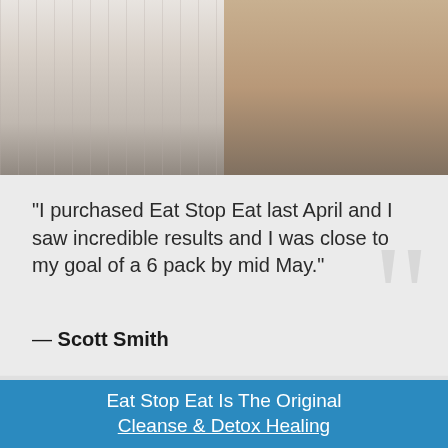[Figure (photo): Before and after photos of a man showing body transformation — left photo shows a heavy-set man in a white checkered shirt, right photo shows a leaner man's torso from behind.]
“I purchased Eat Stop Eat last April and I saw incredible results and I was close to my goal of a 6 pack by mid May.”
— Scott Smith
Eat Stop Eat Is The Original Cleanse & Detox Healing